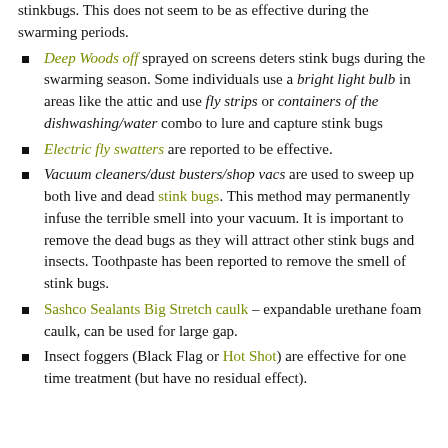with some or containers like stinkbugs. This does not seem to be as effective during the swarming periods.
Deep Woods off sprayed on screens deters stink bugs during the swarming season. Some individuals use a bright light bulb in areas like the attic and use fly strips or containers of the dishwashing/water combo to lure and capture stink bugs
Electric fly swatters are reported to be effective.
Vacuum cleaners/dust busters/shop vacs are used to sweep up both live and dead stink bugs. This method may permanently infuse the terrible smell into your vacuum. It is important to remove the dead bugs as they will attract other stink bugs and insects. Toothpaste has been reported to remove the smell of stink bugs.
Sashco Sealants Big Stretch caulk – expandable urethane foam caulk, can be used for large gap.
Insect foggers (Black Flag or Hot Shot) are effective for one time treatment (but have no residual effect).